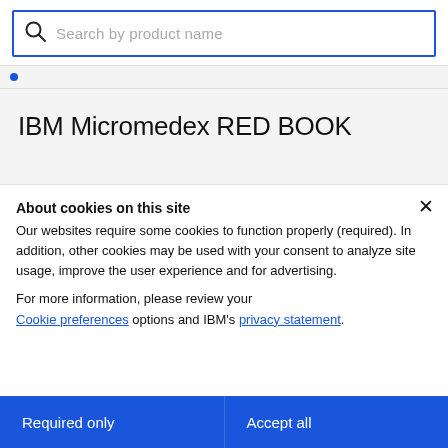[Figure (screenshot): Search box with magnifying glass icon and placeholder text 'Search by product name', outlined in blue]
IBM Micromedex RED BOOK
About cookies on this site
Our websites require some cookies to function properly (required). In addition, other cookies may be used with your consent to analyze site usage, improve the user experience and for advertising.
For more information, please review your Cookie preferences options and IBM's privacy statement.
Required only
Accept all